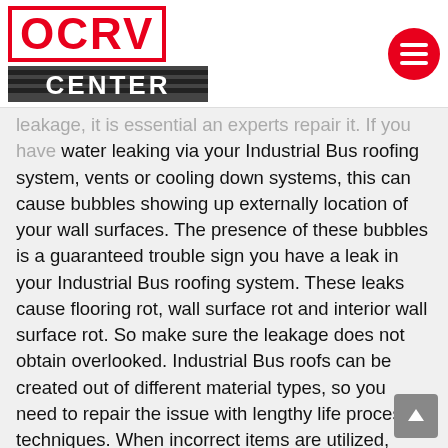[Figure (logo): OCRV Center logo with red letters and striped CENTER text below]
leakage, it is essential an experts repair it. If you have water leaking via your Industrial Bus roofing system, vents or cooling down systems, this can cause bubbles showing up externally location of your wall surfaces. The presence of these bubbles is a guaranteed trouble sign you have a leak in your Industrial Bus roofing system. These leaks cause flooring rot, wall surface rot and interior wall surface rot. So make sure the leakage does not obtain overlooked. Industrial Bus roofs can be created out of different material types, so you need to repair the issue with lengthy life process techniques. When incorrect items are utilized, irreparable damage can happen, and you may create whole replace the whole Industrial Bus roofing system. Visually checking your roof covering isn't reliable enough to comprehend which sort of rubber roofing you have, so try to find an Industrial Bus roofing repair near me, such as and also OCRV Center where the experts on Industrial Bus roof repairs are concealing.